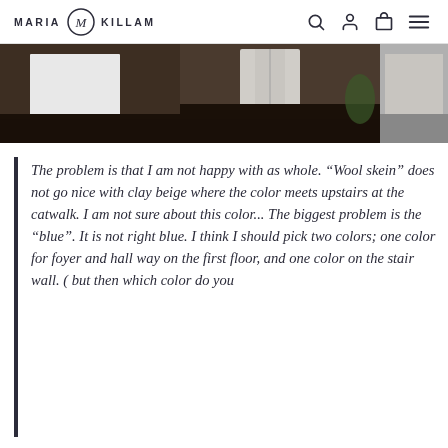MARIA KILLAM
[Figure (photo): Interior home photo strip showing dark hardwood floors, white cabinetry, staircase, and living areas]
The problem is that I am not happy with as whole. “Wool skein” does not go nice with clay beige where the color meets upstairs at the catwalk. I am not sure about this color... The biggest problem is the “blue”. It is not right blue. I think I should pick two colors; one color for foyer and hall way on the first floor, and one color on the stair wall. ( but then which color do you